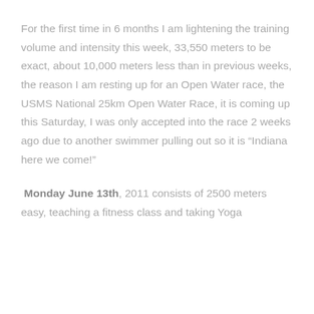For the first time in 6 months I am lightening the training volume and intensity this week, 33,550 meters to be exact, about 10,000 meters less than in previous weeks, the reason I am resting up for an Open Water race, the USMS National 25km Open Water Race, it is coming up this Saturday, I was only accepted into the race 2 weeks ago due to another swimmer pulling out so it is “Indiana here we come!”
Monday June 13th, 2011 consists of 2500 meters easy, teaching a fitness class and taking Yoga